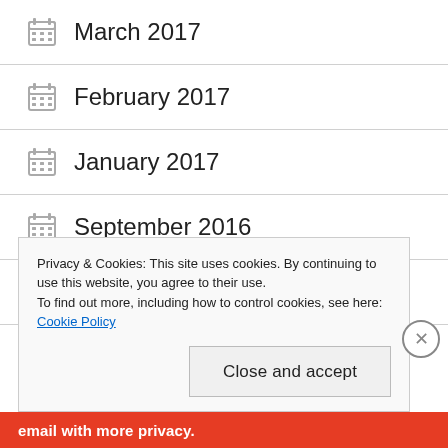March 2017
February 2017
January 2017
September 2016
August 2016
July 2016
Privacy & Cookies: This site uses cookies. By continuing to use this website, you agree to their use.
To find out more, including how to control cookies, see here: Cookie Policy
Close and accept
email with more privacy.